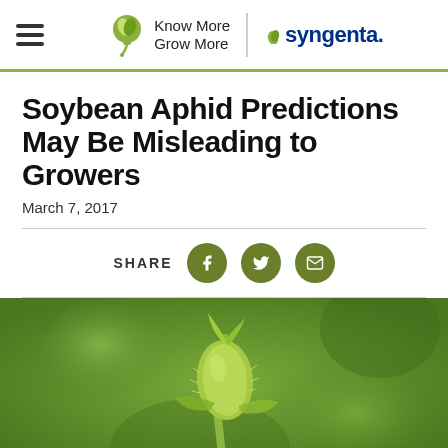Know More Grow More | syngenta.
Soybean Aphid Predictions May Be Misleading to Growers
March 7, 2017
SHARE
[Figure (photo): Close-up photograph of a green soybean plant bud or young shoot against a blurred green background, possibly showing aphid damage or a soybean aphid on a leaf tip.]